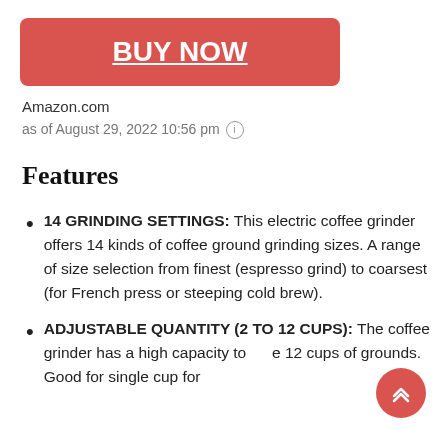[Figure (other): Red 'BUY NOW' button with underlined white bold text on a rounded rectangle]
Amazon.com
as of August 29, 2022 10:56 pm ⓘ
Features
14 GRINDING SETTINGS: This electric coffee grinder offers 14 kinds of coffee ground grinding sizes. A range of size selection from finest (espresso grind) to coarsest (for French press or steeping cold brew).
ADJUSTABLE QUANTITY (2 TO 12 CUPS): The coffee grinder has a high capacity to make 12 cups of grounds. Good for single cup for
[Figure (other): Red circular scroll-to-top button with double chevron up arrow icon]